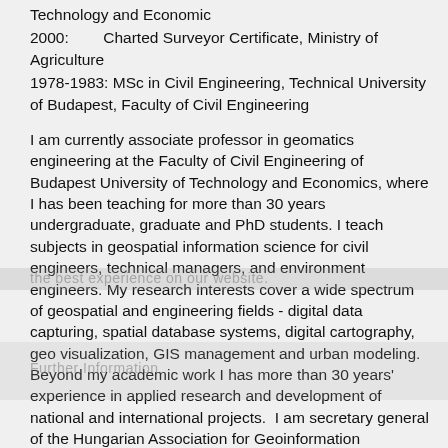Technology and Economic
2000:        Charted Surveyor Certificate, Ministry of Agriculture
1978-1983: MSc in Civil Engineering, Technical University of Budapest, Faculty of Civil Engineering
I am currently associate professor in geomatics engineering at the Faculty of Civil Engineering of Budapest University of Technology and Economics, where I has been teaching for more than 30 years undergraduate, graduate and PhD students. I teach subjects in geospatial information science for civil engineers, technical managers, and environment engineers. My research interests cover a wide spectrum of geospatial and engineering fields - digital data capturing, spatial database systems, digital cartography, geo visualization, GIS management and urban modeling. Beyond my academic work I has more than 30 years' experience in applied research and development of national and international projects.  I am secretary general of the Hungarian Association for Geoinformation (HUNAGI), president of GIS commission of the Hungarian Society of Surveying and Mapping, member of the European Umbrella Association for Geographic Information (EUROGI) executive committee, Hungarian National Standardization Agency GIS Committee, the Hungarian Space